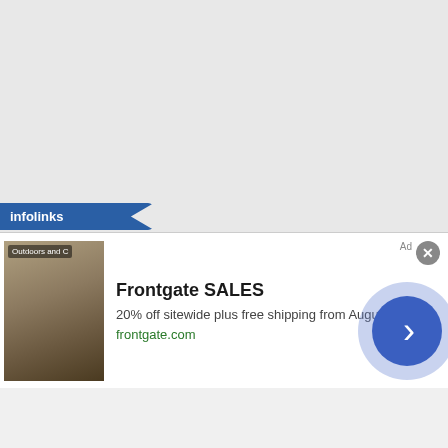Scully's suggestion about how things were used by Twan: Chicago Police Off...
According to Scully, Doyle was with the evidence section of the Chicago P-- and Scully was correct a few yea... Detectives William Hanhardt behin... Outfit's reach into local law enforce...
Good cops who make small mistak... politicians who wag their fingers fo... politicians somehow always forget...
If you're a loyal reader, you might ... years ago, after reporting that Chi... in the federal witness protection p... implicated in many of the 18 murd... of brothers Anthony and Michael S... inserting them in a shallow grave i...
[Figure (other): Infolinks advertisement badge/label in blue]
[Figure (other): Frontgate SALES advertisement banner: 20% off sitewide plus free shipping from August 19-22, frontgate.com. Shows outdoor furniture image with fire pit. Has close button and forward arrow button.]